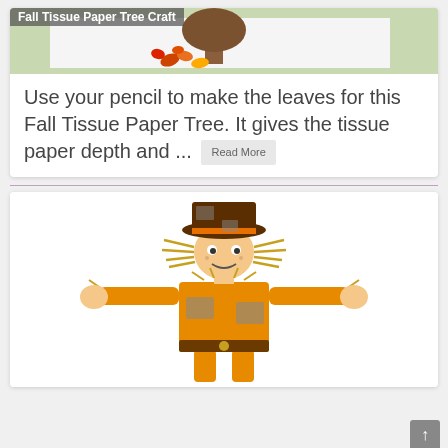[Figure (photo): Fall Tissue Paper Tree Craft image showing a paper tree with colorful tissue paper leaves on a green background]
Use your pencil to make the leaves for this Fall Tissue Paper Tree. It gives the tissue paper depth and ...
[Figure (illustration): Cartoon scarecrow illustration wearing an orange outfit and brown pilgrim hat with outstretched arms]